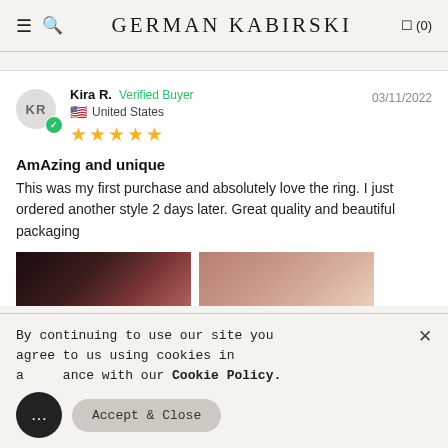GERMAN KABIRSKI
Kira R.  Verified Buyer  03/11/2022  United States  ★★★★★
AmAzing and unique
This was my first purchase and absolutely love the ring. I just ordered another style 2 days later. Great quality and beautiful packaging
[Figure (photo): Two review photos: first showing a dark/black close-up photo, second showing a skin-toned hand close-up]
By continuing to use our site you agree to us using cookies in accordance with our Cookie Policy.
Accept & Close